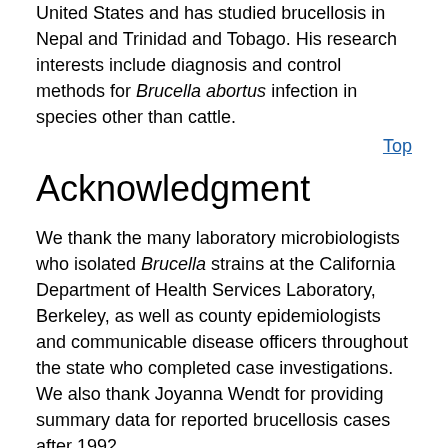United States and has studied brucellosis in Nepal and Trinidad and Tobago. His research interests include diagnosis and control methods for Brucella abortus infection in species other than cattle.
Top
Acknowledgment
We thank the many laboratory microbiologists who isolated Brucella strains at the California Department of Health Services Laboratory, Berkeley, as well as county epidemiologists and communicable disease officers throughout the state who completed case investigations. We also thank Joyanna Wendt for providing summary data for reported brucellosis cases after 1992.
Top